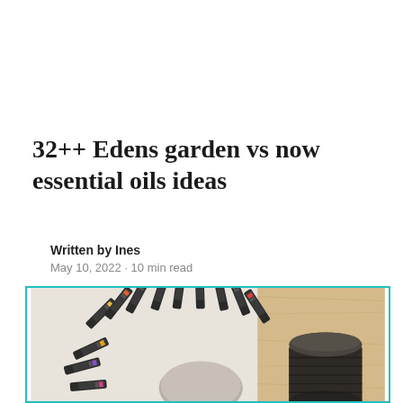32++ Edens garden vs now essential oils ideas
Written by Ines
May 10, 2022 · 10 min read
[Figure (photo): A fan arrangement of essential oil bottles from Edens Garden spread in a circle around a central point, with a diffuser or dark cylindrical container visible on the right side, placed on a wooden surface.]